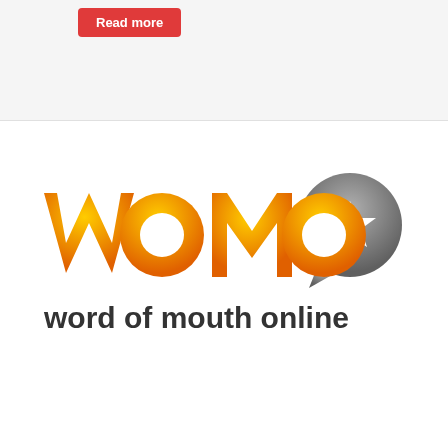Read more
[Figure (logo): WOMO logo — orange rounded 'womo' lettering with a grey speech bubble containing a white star, and tagline 'word of mouth online' in dark grey below]